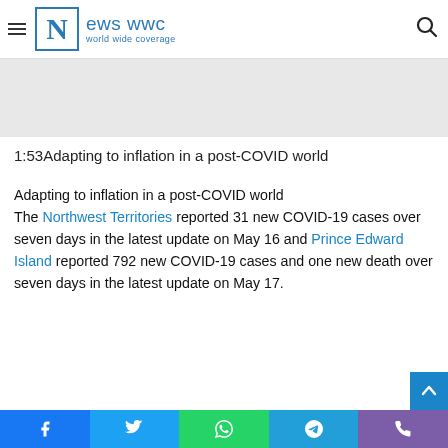News WWC - world wide coverage
[Figure (other): Gray placeholder area for a video or image embed]
1:53Adapting to inflation in a post-COVID world
Adapting to inflation in a post-COVID world
The Northwest Territories reported 31 new COVID-19 cases over seven days in the latest update on May 16 and Prince Edward Island reported 792 new COVID-19 cases and one new death over seven days in the latest update on May 17.
Social share bar: Facebook, Twitter, WhatsApp, Telegram, Phone